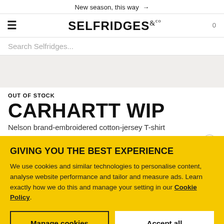New season, this way →
[Figure (logo): Selfridges & Co logo with hamburger menu icon and cart count 0]
Search Selfridges...
[Figure (photo): Product image area (light beige/grey background)]
OUT OF STOCK
CARHARTT WIP
Nelson brand-embroidered cotton-jersey T-shirt
$40.00   $85.00   $ 425.00
GIVING YOU THE BEST EXPERIENCE
We use cookies and similar technologies to personalise content, analyse website performance and tailor and measure ads. Learn exactly how we do this and manage your setting in our Cookie Policy.
Manage cookies
Accept all